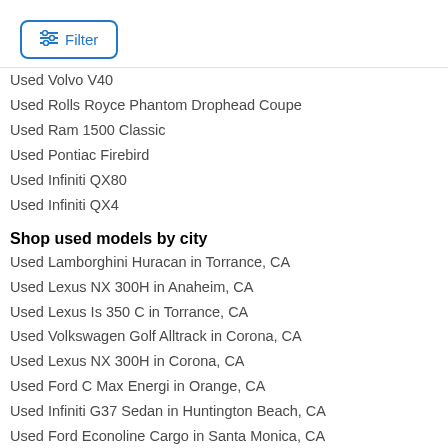[Figure (other): Filter button with icon]
Used Volvo V40
Used Rolls Royce Phantom Drophead Coupe
Used Ram 1500 Classic
Used Pontiac Firebird
Used Infiniti QX80
Used Infiniti QX4
Shop used models by city
Used Lamborghini Huracan in Torrance, CA
Used Lexus NX 300H in Anaheim, CA
Used Lexus Is 350 C in Torrance, CA
Used Volkswagen Golf Alltrack in Corona, CA
Used Lexus NX 300H in Corona, CA
Used Ford C Max Energi in Orange, CA
Used Infiniti G37 Sedan in Huntington Beach, CA
Used Ford Econoline Cargo in Santa Monica, CA